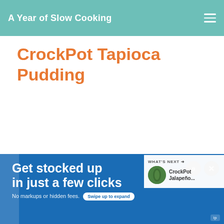A Year of Slow Cooking
CrockPot Tapioca Pudding
[Figure (infographic): Social sharing buttons: Pinterest (pink), Yummly (orange), Facebook (purple), Twitter (blue), Email (dark gray), WhatsApp (green). Right sidebar: teal heart icon with count 4, share icon.]
[Figure (photo): Photo of tapioca pudding in a glass bowl on a wooden board with pine cones in the background. Warm autumnal tones.]
WHAT'S NEXT → CrockPot Jalapeño...
[Figure (screenshot): Advertisement banner: 'Get stocked up in just a few clicks. No markups or hidden fees.' with a 'Swipe up to expand' button on a blue background.]